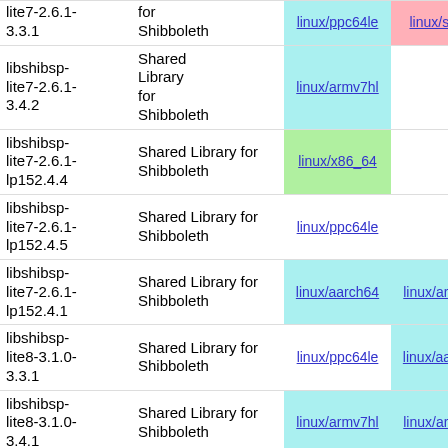| Package | Description | Link 1 | Link 2 | Link 3 |
| --- | --- | --- | --- | --- |
| lite7-2.6.1-3.3.1 | for Shibboleth | linux/ppc64le | linux/s390x | linux/aarch64 |
| libshibsp-lite7-2.6.1-3.4.2 | Shared Library for Shibboleth | linux/armv7hl |  |  |
| libshibsp-lite7-2.6.1-lp152.4.4 | Shared Library for Shibboleth | linux/x86_64 |  |  |
| libshibsp-lite7-2.6.1-lp152.4.5 | Shared Library for Shibboleth | linux/ppc64le |  |  |
| libshibsp-lite7-2.6.1-lp152.4.1 | Shared Library for Shibboleth | linux/aarch64 | linux/armv7hl |  |
| libshibsp-lite8-3.1.0-3.3.1 | Shared Library for Shibboleth | linux/ppc64le | linux/aarch64 | linux/s39... |
| libshibsp-lite8-3.1.0-3.4.1 | Shared Library for Shibboleth | linux/armv7hl | linux/armv7hl |  |
| libshibsp-lite8-3.1.0-... | Shared Library for Shibboleth | linux/ppc64le | linux/s390x | linux/x86... |